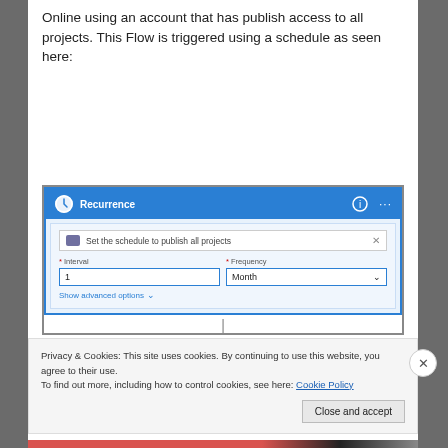Online using an account that has publish access to all projects. This Flow is triggered using a schedule as seen here:
[Figure (screenshot): Screenshot of a Microsoft Power Automate Recurrence trigger dialog. Shows a header with blue background labeled 'Recurrence' with clock icon, info icon, and ellipsis menu. Below is a modal titled 'Set the schedule to publish all projects' with fields for * Interval (value: 1) and * Frequency (value: Month, with dropdown), and a 'Show advanced options' link.]
Privacy & Cookies: This site uses cookies. By continuing to use this website, you agree to their use.
To find out more, including how to control cookies, see here: Cookie Policy
Close and accept